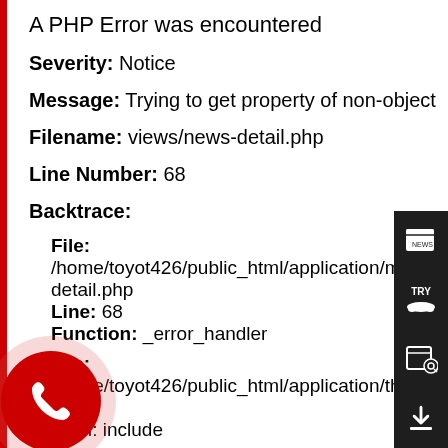A PHP Error was encountered
Severity: Notice
Message: Trying to get property of non-object
Filename: views/news-detail.php
Line Number: 68
Backtrace:
File: /home/toyot426/public_html/application/modules/home/detail.php
Line: 68
Function: _error_handler
File: /home/toyot426/public_html/application/third_party/...
Line: 351
Function: include
File:
[Figure (infographic): Phone call button - red circle with white phone handset icon, with pink/translucent outer ring]
[Figure (infographic): Right sidebar with four dark buttons: news/radio icon, TRY car icon, calendar/search icon, download arrow icon]